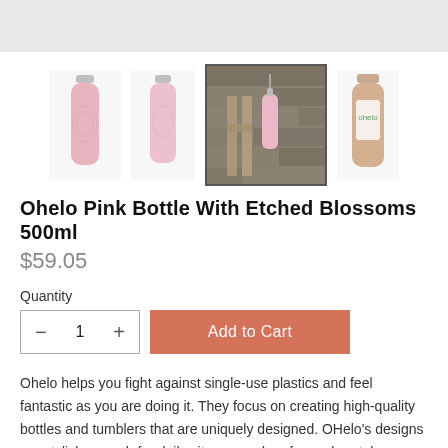[Figure (screenshot): Top grey banner bar]
[Figure (photo): Four product thumbnail images of Ohelo Pink Bottle With Etched Blossoms 500ml: two plain pink bottle thumbnails, one outdoor lifestyle shot hanging from a gate, one bottle with Ohelo branding label]
Ohelo Pink Bottle With Etched Blossoms 500ml
$59.05
Quantity
1
Add to Cart
Ohelo helps you fight against single-use plastics and feel fantastic as you are doing it. They focus on creating high-quality bottles and tumblers that are uniquely designed. OHelo's designs are stylish enough for daily city use and perform when taken on an